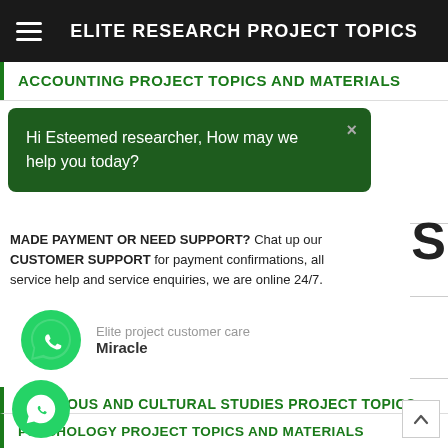ELITE RESEARCH PROJECT TOPICS
ACCOUNTING PROJECT TOPICS AND MATERIALS
Hi Esteemed researcher, How may we help you today?
MADE PAYMENT OR NEED SUPPORT? Chat up our CUSTOMER SUPPORT for payment confirmations, all service help and service enquiries, we are online 24/7.
[Figure (other): WhatsApp contact card showing Elite project customer care - Miracle]
RELIGIOUS AND CULTURAL STUDIES PROJECT TOPICS AND MATERIALS
PSYCHOLOGY PROJECT TOPICS AND MATERIALS